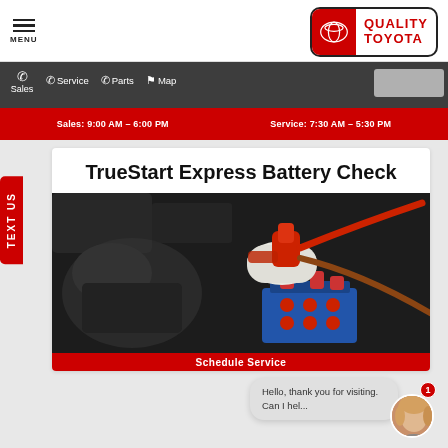MENU | QUALITY TOYOTA
Sales | Service | Parts | Map
Sales: 9:00 AM – 6:00 PM   Service: 7:30 AM – 5:30 PM
TrueStart Express Battery Check
[Figure (photo): A technician wearing white gloves connecting jumper cables to a car battery in an engine bay]
Schedule Service
Hello, thank you for visiting. Can I hel...
TEXT US